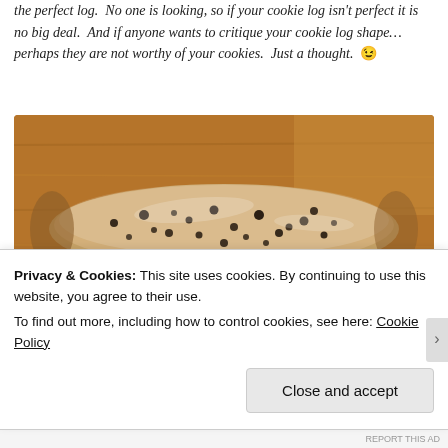the perfect log. No one is looking, so if your cookie log isn't perfect it is no big deal. And if anyone wants to critique your cookie log shape… perhaps they are not worthy of your cookies. Just a thought. 😉
[Figure (photo): A cookie dough log wrapped in plastic wrap, resting on a wooden cutting board. The dough is speckled with chocolate chips or similar dark mix-ins.]
Sometimes the cookie logs do not last long enough in the fridge or
Privacy & Cookies: This site uses cookies. By continuing to use this website, you agree to their use.
To find out more, including how to control cookies, see here: Cookie Policy